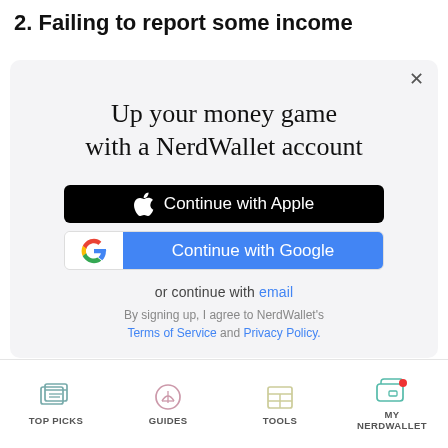2. Failing to report some income
[Figure (screenshot): NerdWallet sign-up modal with 'Up your money game with a NerdWallet account' heading, Continue with Apple button, Continue with Google button, or continue with email link, and Terms of Service / Privacy Policy text]
[Figure (screenshot): Bottom navigation bar with Top Picks, Guides, Tools, and My NerdWallet icons]